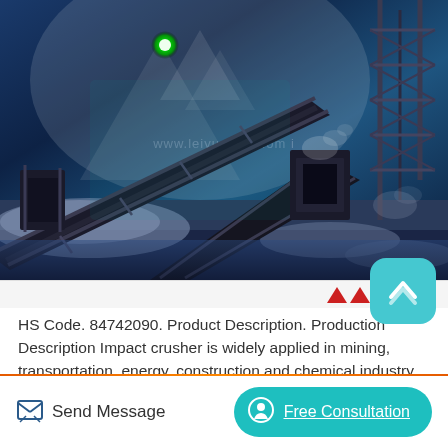[Figure (photo): Industrial mining/quarry scene showing conveyor belts, scaffolding and crushing equipment under blue-tinted lighting with a green light orb visible. Watermark logo and URL overlay visible.]
HS Code. 84742090. Product Description. Production Description Impact crusher is widely applied in mining, transportation, energy, construction and chemical industry. Impact crusher is ideal choice for crushing and screening. It features reasonable structure,
Send Message   Free Consultation